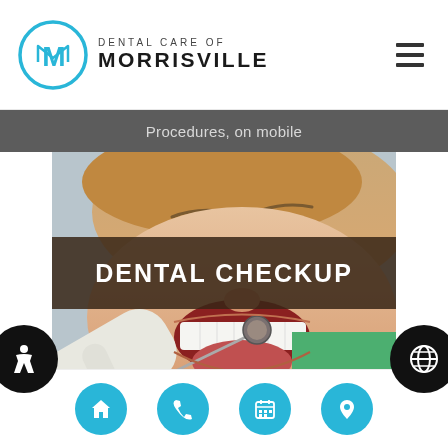[Figure (logo): Dental Care of Morrisville logo with circular M emblem and text]
Procedures, on mobile
[Figure (photo): Woman smiling with mouth open during dental checkup, dentist using mirror tool. Banner overlay reads DENTAL CHECKUP.]
[Figure (infographic): Bottom navigation bar with four circular cyan buttons: home, phone, calendar, location. Accessibility and globe buttons on left and right edges.]